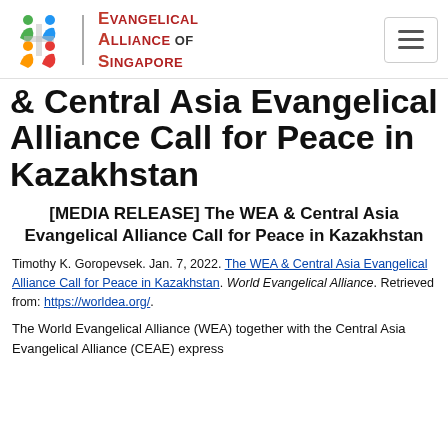Evangelical Alliance of Singapore — logo and menu button
& Central Asia Evangelical Alliance Call for Peace in Kazakhstan
[MEDIA RELEASE] The WEA & Central Asia Evangelical Alliance Call for Peace in Kazakhstan
Timothy K. Goropevsek. Jan. 7, 2022. The WEA & Central Asia Evangelical Alliance Call for Peace in Kazakhstan. World Evangelical Alliance. Retrieved from: https://worldea.org/.
The World Evangelical Alliance (WEA) together with the Central Asia Evangelical Alliance (CEAE) express